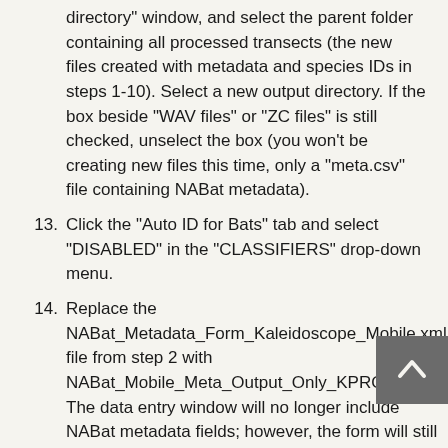directory" window, and select the parent folder containing all processed transects (the new files created with metadata and species IDs in steps 1-10). Select a new output directory. If the box beside "WAV files" or "ZC files" is still checked, unselect the box (you won't be creating new files this time, only a "meta.csv" file containing NABat metadata).
13. Click the "Auto ID for Bats" tab and select "DISABLED" in the "CLASSIFIERS" drop-down menu.
14. Replace the NABat_Metadata_Form_Kaleidoscope_Mobile.xml file from step 2 with NABat_Mobile_Meta_Output_Only_KPRO.xml. The data entry window will no longer include NABat metadata fields; however, the form will still export the embedded metadata from steps 1-9.
15. Click "Process Files" in the bottom right corner of the window.